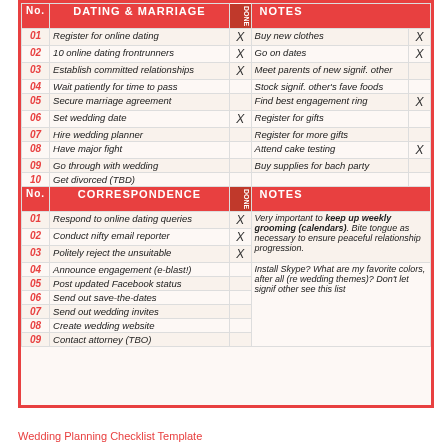| No. | DATING & MARRIAGE | DONE | No. | NOTES |
| --- | --- | --- | --- | --- |
| 01 | Register for online dating | X | Buy new clothes | X |
| 02 | 10 online dating frontrunners | X | Go on dates | X |
| 03 | Establish committed relationships | X | Meet parents of new signif. other |  |
| 04 | Wait patiently for time to pass |  | Stock signif. other's fave foods |  |
| 05 | Secure marriage agreement |  | Find best engagement ring | X |
| 06 | Set wedding date | X | Register for gifts |  |
| 07 | Hire wedding planner |  | Register for more gifts |  |
| 08 | Have major fight |  | Attend cake testing | X |
| 09 | Go through with wedding |  | Buy supplies for bach party |  |
| 10 | Get divorced (TBD) |  |  |  |
| No. | CORRESPONDENCE | DONE | NOTES |
| --- | --- | --- | --- |
| 01 | Respond to online dating queries | X | Very important to keep up weekly grooming (calendars). Bite tongue as necessary to ensure peaceful relationship progression. |
| 02 | Conduct nifty email reporter | X |  |
| 03 | Politely reject the unsuitable | X | Install Skype? What are my favorite colors, after all (re wedding themes)? Don't let signif other see this list |
| 04 | Announce engagement (e-blast!) |  |  |
| 05 | Post updated Facebook status |  |  |
| 06 | Send out save-the-dates |  |  |
| 07 | Send out wedding invites |  |  |
| 08 | Create wedding website |  |  |
| 09 | Contact attorney (TBO) |  |  |
Wedding Planning Checklist Template